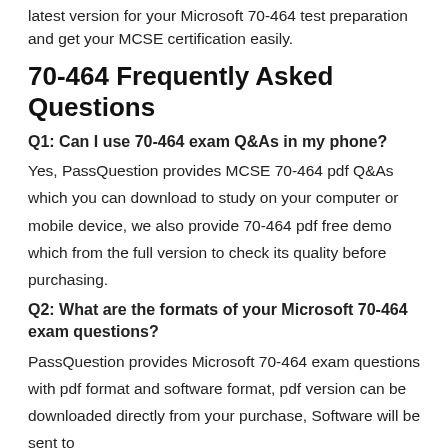latest version for your Microsoft 70-464 test preparation and get your MCSE certification easily.
70-464 Frequently Asked Questions
Q1: Can I use 70-464 exam Q&As in my phone?
Yes, PassQuestion provides MCSE 70-464 pdf Q&As which you can download to study on your computer or mobile device, we also provide 70-464 pdf free demo which from the full version to check its quality before purchasing.
Q2: What are the formats of your Microsoft 70-464 exam questions?
PassQuestion provides Microsoft 70-464 exam questions with pdf format and software format, pdf version can be downloaded directly from your purchase, Software will be sent to